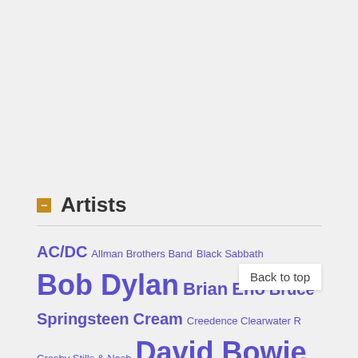Artists
AC/DC Allman Brothers Band Black Sabbath Bob Dylan Brian Eno Bruce Springsteen Cream Creedence Clearwater R... Crosby Stills & Nash David Bowie Deep Purple